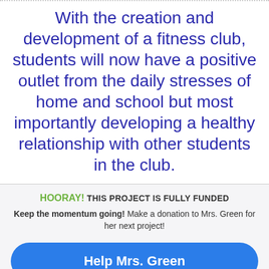With the creation and development of a fitness club, students will now have a positive outlet from the daily stresses of home and school but most importantly developing a healthy relationship with other students in the club.
HOORAY! THIS PROJECT IS FULLY FUNDED
Keep the momentum going! Make a donation to Mrs. Green for her next project!
Help Mrs. Green